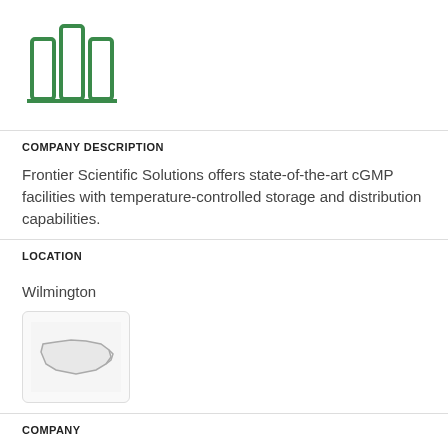[Figure (logo): Green columnar bar chart icon / company logo placeholder]
COMPANY DESCRIPTION
Frontier Scientific Solutions offers state-of-the-art cGMP facilities with temperature-controlled storage and distribution capabilities.
LOCATION
Wilmington
[Figure (map): Map thumbnail showing North Carolina state outline]
COMPANY
Impact Fulfillment Services Inc.
ACTIVITY: SUPPORT AND RELATED
[Figure (illustration): Group of people / team icon in green outline style]